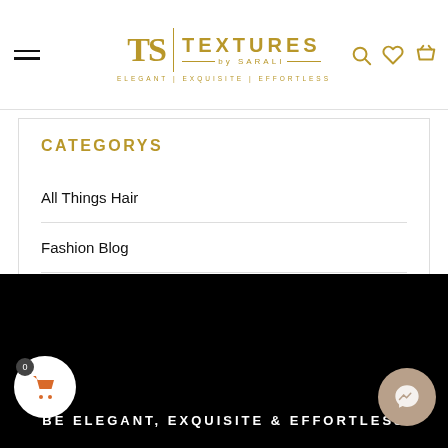Textures by Sarali — ELEGANT | EXQUISITE | EFFORTLESS
CATEGORYS
All Things Hair
Fashion Blog
BE ELEGANT, EXQUISITE & EFFORTLESS